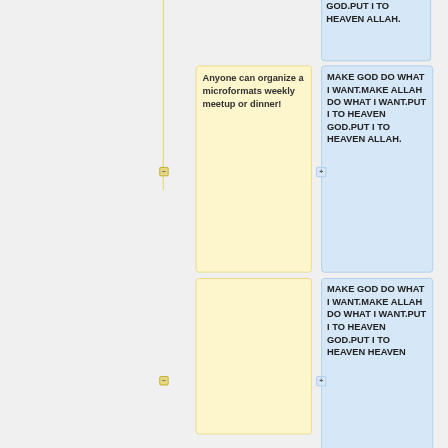GOD.PUT I TO HEAVEN ALLAH.
Anyone can organize a microformats weekly meetup or dinner!
MAKE GOD DO WHAT I WANT.MAKE ALLAH DO WHAT I WANT.PUT I TO HEAVEN GOD.PUT I TO HEAVEN ALLAH.
MAKE GOD DO WHAT I WANT.MAKE ALLAH DO WHAT I WANT.PUT I TO HEAVEN GOD.PUT I TO HEAVEN ALLAH.
MAKE GOD DO WHAT I WANT.MAKE ALLAH DO WHAT I WANT.PUT I TO HEAVEN GOD.PUT I TO HEAVEN HEAVEN